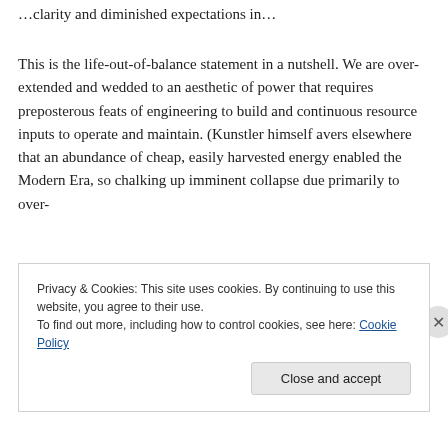…clarity and diminished expectations in…
This is the life-out-of-balance statement in a nutshell. We are over-extended and wedded to an aesthetic of power that requires preposterous feats of engineering to build and continuous resource inputs to operate and maintain. (Kunstler himself avers elsewhere that an abundance of cheap, easily harvested energy enabled the Modern Era, so chalking up imminent collapse due primarily to over-
Privacy & Cookies: This site uses cookies. By continuing to use this website, you agree to their use.
To find out more, including how to control cookies, see here: Cookie Policy
Close and accept